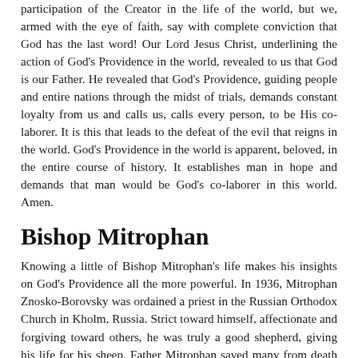participation of the Creator in the life of the world, but we, armed with the eye of faith, say with complete conviction that God has the last word! Our Lord Jesus Christ, underlining the action of God's Providence in the world, revealed to us that God is our Father. He revealed that God's Providence, guiding people and entire nations through the midst of trials, demands constant loyalty from us and calls us, calls every person, to be His co-laborer. It is this that leads to the defeat of the evil that reigns in the world. God's Providence in the world is apparent, beloved, in the entire course of history. It establishes man in hope and demands that man would be God's co-laborer in this world. Amen.
Bishop Mitrophan
Knowing a little of Bishop Mitrophan's life makes his insights on God's Providence all the more powerful. In 1936, Mitrophan Znosko-Borovsky was ordained a priest in the Russian Orthodox Church in Kholm, Russia. Strict toward himself, affectionate and forgiving toward others, he was truly a good shepherd, giving his life for his sheep. Father Mitrophan saved many from death behind the walls of the NKVD during the Soviet occupation of Byelorussia. He also saved Jews, hiding them from fascist